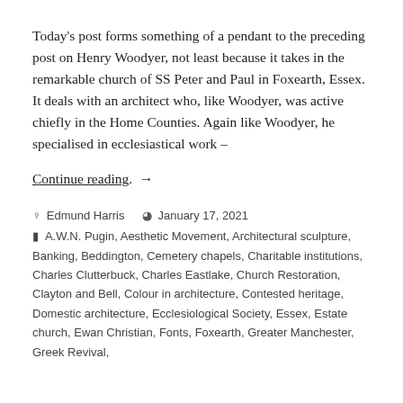Today's post forms something of a pendant to the preceding post on Henry Woodyer, not least because it takes in the remarkable church of SS Peter and Paul in Foxearth, Essex. It deals with an architect who, like Woodyer, was active chiefly in the Home Counties. Again like Woodyer, he specialised in ecclesiastical work –
Continue reading. →
Edmund Harris   January 17, 2021
A.W.N. Pugin, Aesthetic Movement, Architectural sculpture, Banking, Beddington, Cemetery chapels, Charitable institutions, Charles Clutterbuck, Charles Eastlake, Church Restoration, Clayton and Bell, Colour in architecture, Contested heritage, Domestic architecture, Ecclesiological Society, Essex, Estate church, Ewan Christian, Fonts, Foxearth, Greater Manchester, Greek Revival,